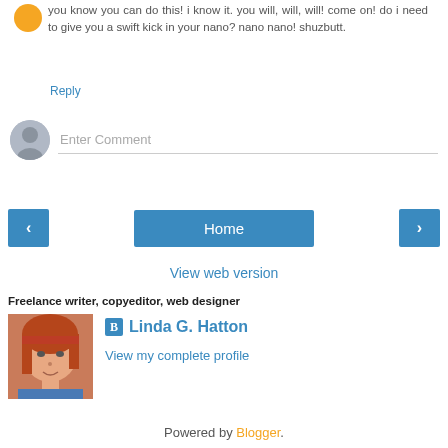you know you can do this! i know it. you will, will, will! come on! do i need to give you a swift kick in your nano? nano nano! shuzbutt.
Reply
Enter Comment
Home
View web version
Freelance writer, copyeditor, web designer
[Figure (photo): Profile photo of Linda G. Hatton, a woman with reddish hair]
Linda G. Hatton
View my complete profile
Powered by Blogger.